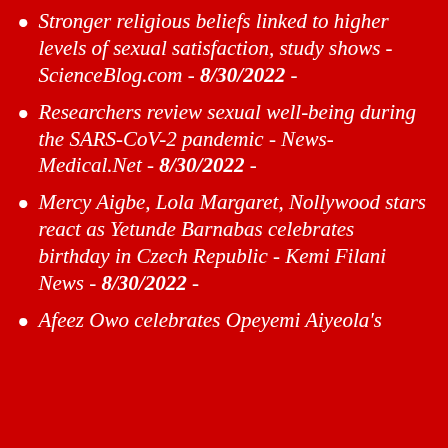Stronger religious beliefs linked to higher levels of sexual satisfaction, study shows - ScienceBlog.com - 8/30/2022 -
Researchers review sexual well-being during the SARS-CoV-2 pandemic - News-Medical.Net - 8/30/2022 -
Mercy Aigbe, Lola Margaret, Nollywood stars react as Yetunde Barnabas celebrates birthday in Czech Republic - Kemi Filani News - 8/30/2022 -
Afeez Owo celebrates Opeyemi Aiyeola's